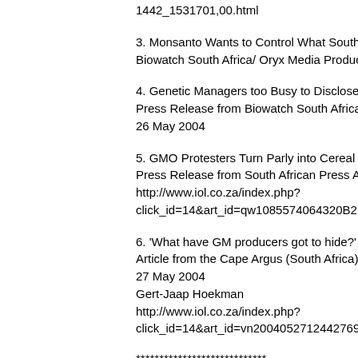1442_1531701,00.html
3. Monsanto Wants to Control What South Af...
Biowatch South Africa/ Oryx Media Production...
4. Genetic Managers too Busy to Disclose En...
Press Release from Biowatch South Africa/ O...
26 May 2004
5. GMO Protesters Turn Parly into Cereal
Press Release from South African Press Asso...
http://www.iol.co.za/index.php?
click_id=14&art_id=qw1085574064320B216&...
6. 'What have GM producers got to hide?'
Article from the Cape Argus (South Africa).
27 May 2004
Gert-Jaap Hoekman
http://www.iol.co.za/index.php?
click_id=14&art_id=vn20040527124427690C...
****************************
1. Environmentalists Want State's GM Sec...
Article from South African Press Agency (SAP...
Roux
Environmental lobby group Biowatch sought a...